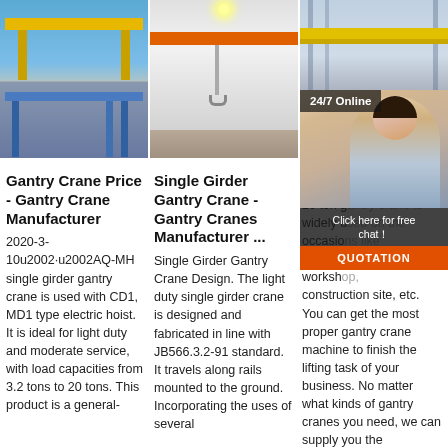[Figure (photo): Three images of gantry cranes: outdoor yellow gantry crane, indoor crane with orange beam, warehouse interior with yellow overhead crane]
[Figure (photo): Chat widget overlay with woman wearing headset, '24/7 Online' badge, 'Click here for free chat!' text, and QUOTATION button]
Gantry Crane Price - Gantry Crane Manufacturer
2020-3-10u2002·u2002AQ-MH single girder gantry crane is used with CD1, MD1 type electric hoist. It is ideal for light duty and moderate service, with load capacities from 3.2 tons to 20 tons. This product is a general-
Single Girder Gantry Crane - Gantry Cranes Manufacturer ...
Single Girder Gantry Crane Design. The light duty single girder crane is designed and fabricated in line with JB566.3.2-91 standard. It travels along rails mounted to the ground. Incorporating the uses of several
20 Ton Crane
20 ton gantry crane is widely used on the occasions like the warehouse, workshop, construction site, etc. You can get the most proper gantry crane machine to finish the lifting task of your business. No matter what kinds of gantry cranes you need, we can supply you the